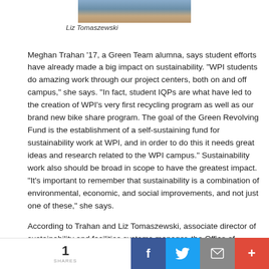[Figure (photo): Partial photo of Liz Tomaszewski at top of page]
Liz Tomaszewski
Meghan Trahan '17, a Green Team alumna, says student efforts have already made a big impact on sustainability. "WPI students do amazing work through our project centers, both on and off campus," she says. "In fact, student IQPs are what have led to the creation of WPI's very first recycling program as well as our brand new bike share program. The goal of the Green Revolving Fund is the establishment of a self-sustaining fund for sustainability work at WPI, and in order to do this it needs great ideas and research related to the WPI campus." Sustainability work also should be broad in scope to have the greatest impact. "It's important to remember that sustainability is a combination of environmental, economic, and social improvements, and not just one of these," she says.
According to Trahan and Liz Tomaszewski, associate director of sustainability and facilities systems manager, the Office of Sustainability is establishing a committee that will involve students, faculty, and staff from diverse disciplines and backgrounds